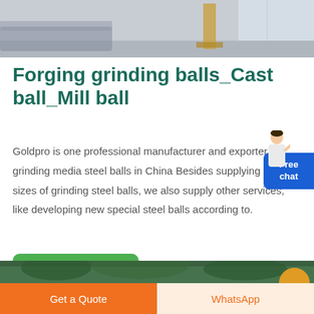[Figure (photo): Top portion of a room interior photo showing gray walls and a wooden shelf/furniture element]
Forging grinding balls_Cast ball_Mill ball
Goldpro is one professional manufacturer and exporter of grinding media steel balls in China Besides supplying different sizes of grinding steel balls, we also supply other services, like developing new special steel balls according to.
[Figure (other): Green 'Read more' button]
[Figure (photo): Bottom partial image showing outdoor/industrial scenery with trees]
Get a Quote   WhatsApp